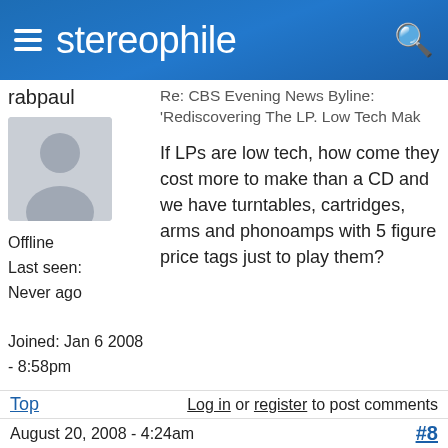stereophile
rabpaul
[Figure (illustration): Generic grey silhouette avatar placeholder]
Offline
Last seen:
Never ago
Joined: Jan 6 2008 - 8:58pm
Re: CBS Evening News Byline: 'Rediscovering The LP. Low Tech Mak
If LPs are low tech, how come they cost more to make than a CD and we have turntables, cartridges, arms and phonoamps with 5 figure price tags just to play them?
Top
Log in or register to post comments
August 20, 2008 - 4:24am
#8